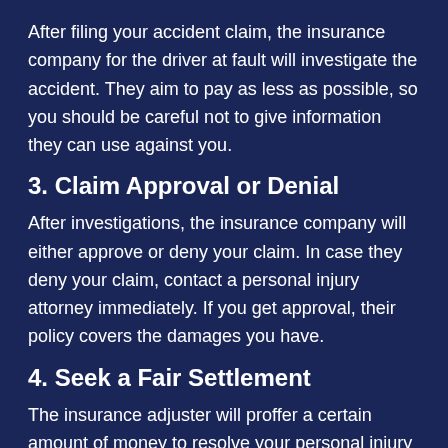After filing your accident claim, the insurance company for the driver at fault will investigate the accident. They aim to pay as less as possible, so you should be careful not to give information they can use against you.
3. Claim Approval or Denial
After investigations, the insurance company will either approve or deny your claim. In case they deny your claim, contact a personal injury attorney immediately. If you get approval, their policy covers the damages you have.
4. Seek a Fair Settlement
The insurance adjuster will proffer a certain amount of money to resolve your personal injury claim. If you feel the offer is too low, negotiate for